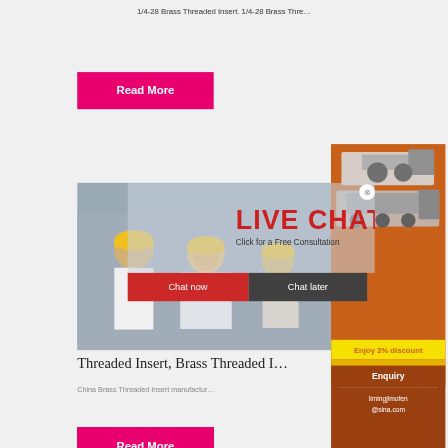1/4-28 Brass Threaded Insert. 1/4-28 Brass Thre…
[Figure (screenshot): Pink 'Read More' button]
[Figure (photo): Live Chat popup with construction workers in yellow hard hats, LIVE CHAT heading in red, 'Click for a Free Consultation' subtitle, Chat now (red) and Chat later (dark) buttons, and close X button]
[Figure (infographic): Orange banner ad on right side with mining/construction machinery images, 'Enjoy 3% discount' in yellow bar, 'Click to Chat' in gold button, Enquiry section with email limingjlmofen@sina.com]
Threaded Insert, Brass Threaded I…
China Brass Threaded Insert manufactur…
[Figure (screenshot): Pink 'Read More' button (partially visible at bottom)]